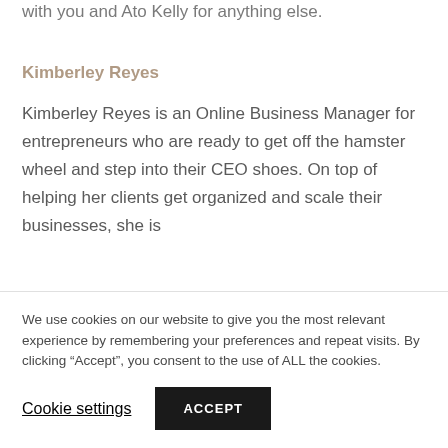with you and Ato Kelly for anything else.
Kimberley Reyes
Kimberley Reyes is an Online Business Manager for entrepreneurs who are ready to get off the hamster wheel and step into their CEO shoes. On top of helping her clients get organized and scale their businesses, she is
We use cookies on our website to give you the most relevant experience by remembering your preferences and repeat visits. By clicking “Accept”, you consent to the use of ALL the cookies.
Cookie settings
ACCEPT